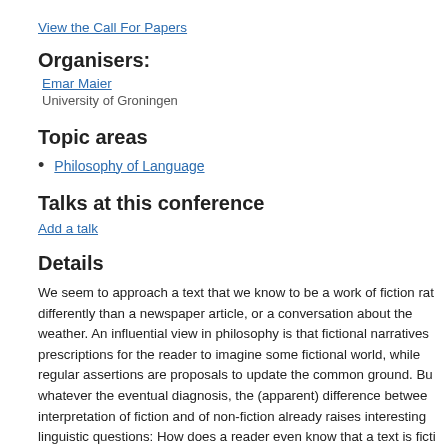View the Call For Papers
Organisers:
Emar Maier
University of Groningen
Topic areas
Philosophy of Language
Talks at this conference
Add a talk
Details
We seem to approach a text that we know to be a work of fiction rat differently than a newspaper article, or a conversation about the weather. An influential view in philosophy is that fictional narratives prescriptions for the reader to imagine some fictional world, while regular assertions are proposals to update the common ground. Bu whatever the eventual diagnosis, the (apparent) difference betwee interpretation of fiction and of non-fiction already raises interesting linguistic questions: How does a reader even know that a text is ficti Are there linguistic clues an author may leave that mark a given text